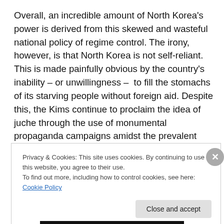Overall, an incredible amount of North Korea's power is derived from this skewed and wasteful national policy of regime control. The irony, however, is that North Korea is not self-reliant. This is made painfully obvious by the country's inability – or unwillingness –  to fill the stomachs of its starving people without foreign aid. Despite this, the Kims continue to proclaim the idea of juche through the use of monumental propaganda campaigns amidst the prevalent starvation, abuse, and civil and political
Privacy & Cookies: This site uses cookies. By continuing to use this website, you agree to their use.
To find out more, including how to control cookies, see here: Cookie Policy